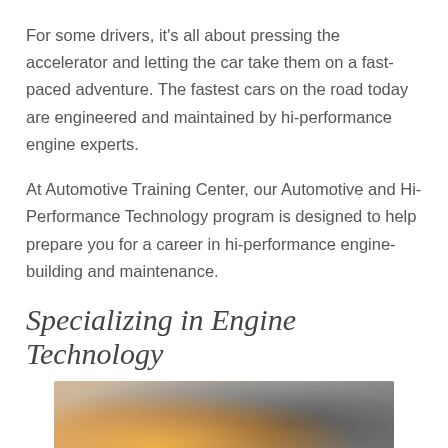For some drivers, it's all about pressing the accelerator and letting the car take them on a fast-paced adventure. The fastest cars on the road today are engineered and maintained by hi-performance engine experts.
At Automotive Training Center, our Automotive and Hi-Performance Technology program is designed to help prepare you for a career in hi-performance engine-building and maintenance.
Specializing in Engine Technology
[Figure (photo): Close-up photo of a car engine bay with warm orange/yellow lighting in the foreground and mechanical components visible, technician hands implied]